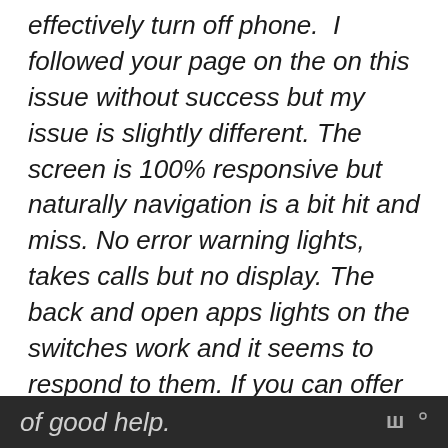effectively turn off phone.  I followed your page on the on this issue without success but my issue is slightly different. The screen is 100% responsive but naturally navigation is a bit hit and miss. No error warning lights, takes calls but no display. The back and open apps lights on the switches work and it seems to respond to them. If you can offer me any advice I would appreciate it.  I live in a country area and there is not a great availability of good help.
of good help.